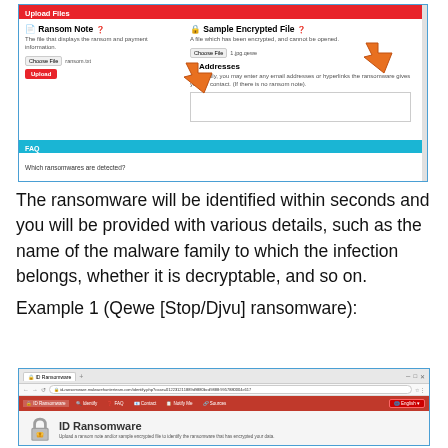[Figure (screenshot): Screenshot of ID Ransomware 'Upload Files' interface showing Ransom Note and Sample Encrypted File upload sections with orange arrows pointing to file input buttons, plus an Addresses section and FAQ bar at bottom]
The ransomware will be identified within seconds and you will be provided with various details, such as the name of the malware family to which the infection belongs, whether it is decryptable, and so on.
Example 1 (Qewe [Stop/Djvu] ransomware):
[Figure (screenshot): Screenshot of ID Ransomware website in Chrome browser showing the main page with a padlock logo and title 'ID Ransomware' with subtitle 'Upload a ransom note and/or sample encrypted file to identify the ransomware that has encrypted your data.']